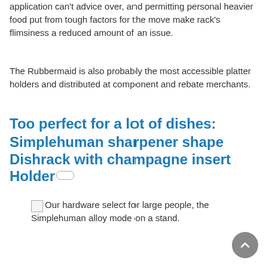application can't advice over, and permitting personal heavier food put from tough factors for the move make rack's flimsiness a reduced amount of an issue.
The Rubbermaid is also probably the most accessible platter holders and distributed at component and rebate merchants.
Too perfect for a lot of dishes: Simplehuman sharpener shape Dishrack with champagne insert Holder
[Figure (photo): Broken image placeholder for Simplehuman alloy mode on a stand]
Our hardware select for large people, the Simplehuman alloy mode on a stand.